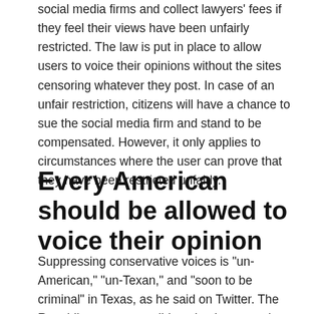social media firms and collect lawyers' fees if they feel their views have been unfairly restricted. The law is put in place to allow users to voice their opinions without the sites censoring whatever they post. In case of an unfair restriction, citizens will have a chance to sue the social media firm and stand to be compensated. However, it only applies to circumstances where the user can prove that they have been restricted unfairly.
Every American should be allowed to voice their opinion
Suppressing conservative voices is "un-American," "un-Texan," and "soon to be criminal" in Texas, as he said on Twitter. The Republican governor did not hesitate to point out that every American has a right to post their views.